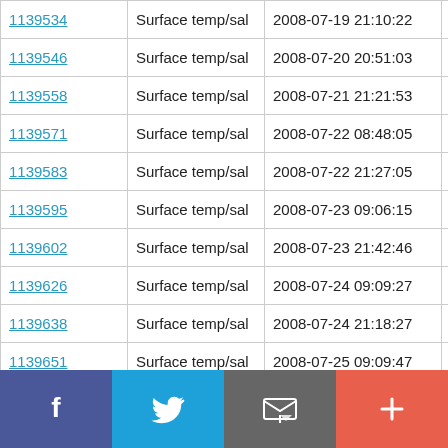| ID | Type | Datetime | Lat |
| --- | --- | --- | --- |
| 1139534 | Surface temp/sal | 2008-07-19 21:10:22 | 53.336 N |
| 1139546 | Surface temp/sal | 2008-07-20 20:51:03 | 53.33 N |
| 1139558 | Surface temp/sal | 2008-07-21 21:21:53 | 53.336 N |
| 1139571 | Surface temp/sal | 2008-07-22 08:48:05 | 53.33 N |
| 1139583 | Surface temp/sal | 2008-07-22 21:27:05 | 53.336 N |
| 1139595 | Surface temp/sal | 2008-07-23 09:06:15 | 53.33 N |
| 1139602 | Surface temp/sal | 2008-07-23 21:42:46 | 53.335 N |
| 1139626 | Surface temp/sal | 2008-07-24 09:09:27 | 53.331 N |
| 1139638 | Surface temp/sal | 2008-07-24 21:18:27 | 53.337 N |
| 1139651 | Surface temp/sal | 2008-07-25 09:09:47 | 53.33 N |